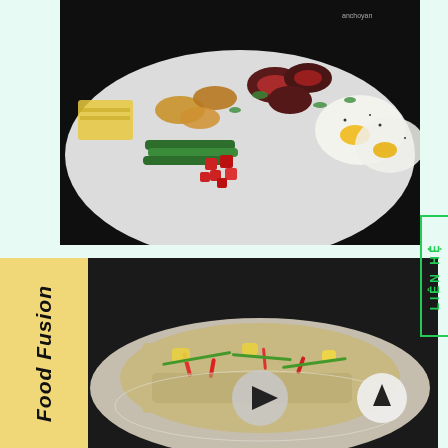[Figure (photo): A large white plate of mixed food including sliced grilled steak (medium-rare), fried eggs, sausages, asparagus, diced red meat, yellow sliced cheese, garnished with green herbs, on a dark background. Watermark reads 'anchoyen'.]
[Figure (photo): A plate of fried rice with vegetables, eggs, red peppers and mixed ingredients, on a dark background. Overlaid with a play button icon and an up arrow button. A yellow label on the left reads 'Food Fusion' in bold italic text.]
Food Fusion
LIÊN HỆ